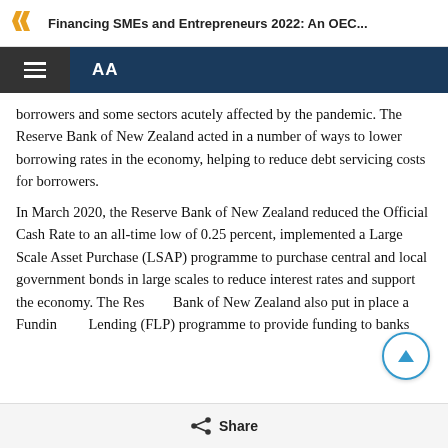Financing SMEs and Entrepreneurs 2022: An OEC...
borrowers and some sectors acutely affected by the pandemic. The Reserve Bank of New Zealand acted in a number of ways to lower borrowing rates in the economy, helping to reduce debt servicing costs for borrowers.
In March 2020, the Reserve Bank of New Zealand reduced the Official Cash Rate to an all-time low of 0.25 percent, implemented a Large Scale Asset Purchase (LSAP) programme to purchase central and local government bonds in large scales to reduce interest rates and support the economy. The Reserve Bank of New Zealand also put in place a Funding for Lending (FLP) programme to provide funding to banks
Share